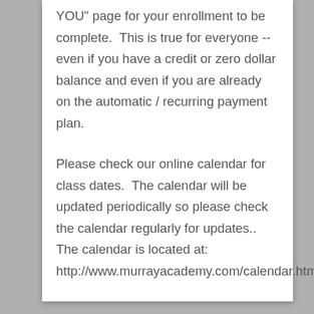YOU" page for your enrollment to be complete.  This is true for everyone -- even if you have a credit or zero dollar balance and even if you are already on the automatic / recurring payment plan.
Please check our online calendar for class dates.  The calendar will be updated periodically so please check the calendar regularly for updates.. The calendar is located at:
http://www.murrayacademy.com/calendar.html